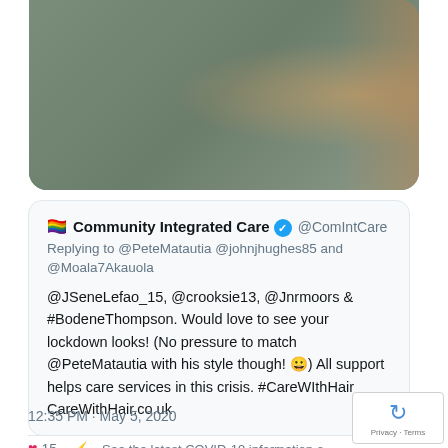[Figure (photo): Person in grey long-sleeve shirt holding up a card or item, photographed from the chest down. Partial arm visible on the right side with colorful book/item visible.]
🏳️‍🌈 Community Integrated Care ✓ @ComIntCare
Replying to @PeteMatautia @johnjhughes85 and @Moala7Akauola
@JSeneLefao_15, @crooksie13, @Jnrmoors & #BodeneThompson. Would love to see your lockdown looks! (No pressure to match @PeteMatautia with his style though! 😀)
All support helps care services in this crisis.
#CareWIthHair CareWithHair.co.uk
12:35 PM · May 5, 2020
❤ 15   See the latest COVID-19 information o